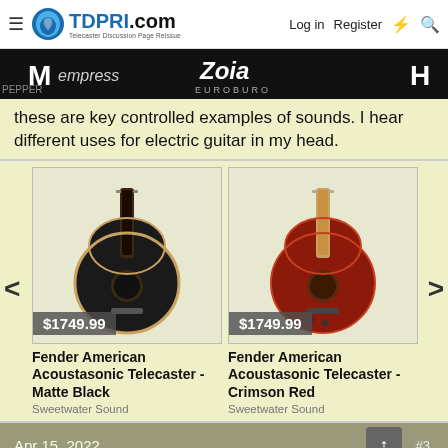TDPRI.com — Telecaster Discussion Page Reissue | Log in | Register
[Figure (screenshot): Dark banner with brand logos including empress, Zoia Euroburo, visible letters M and H on far sides]
these are key controlled examples of sounds. I hear different uses for electric guitar in my head.
[Figure (photo): Fender American Acoustasonic Telecaster in Matte Black, price $1749.99, sold by Sweetwater Sound]
[Figure (photo): Fender American Acoustasonic Telecaster in Crimson Red, price $1749.99, sold by Sweetwater Sound]
Fender American Acoustasonic Telecaster - Matte Black
Sweetwater Sound
Fender American Acoustasonic Telecaster - Crimson Red
Sweetwater Sound
Apr 15, 2022 · #3
Hey_you
Tele Afflicted · Gold Supporter